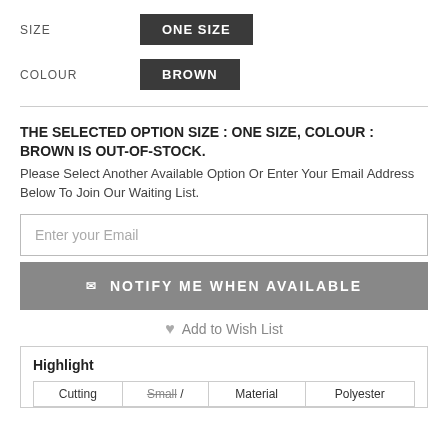SIZE
ONE SIZE
COLOUR
BROWN
THE SELECTED OPTION SIZE : ONE SIZE, COLOUR : BROWN IS OUT-OF-STOCK.
Please Select Another Available Option Or Enter Your Email Address Below To Join Our Waiting List.
Enter your Email
NOTIFY ME WHEN AVAILABLE
Add to Wish List
Highlight
| Cutting | Small / | Material | Polyester |
| --- | --- | --- | --- |